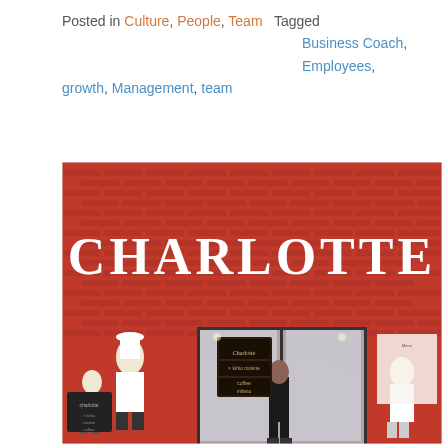Posted in Culture, People, Team  Tagged Business Coach, Employees, growth, Management, team
[Figure (photo): Exterior photo of a store called CHARLOTTE. Red brick facade with large white letters spelling CHARLOTTE above the entrance. A person in dark clothing stands in front of glass doors. Decorative mosaic murals of chef characters on either side of the entrance.]